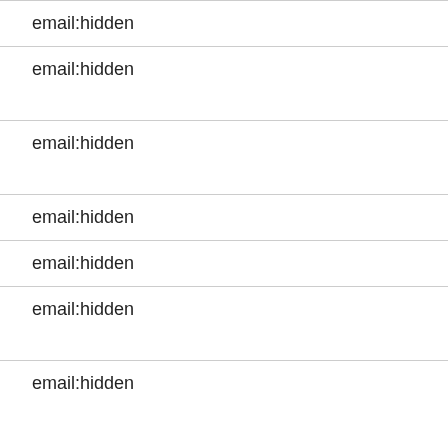email:hidden
email:hidden
email:hidden
email:hidden
email:hidden
email:hidden
email:hidden